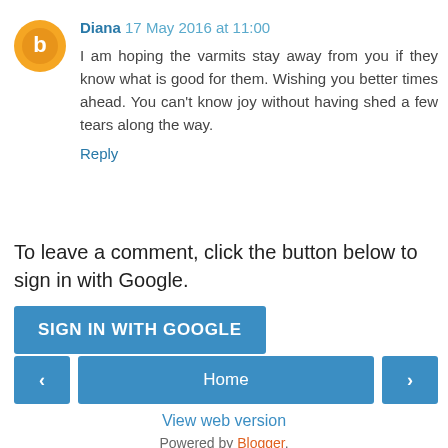Diana 17 May 2016 at 11:00
I am hoping the varmits stay away from you if they know what is good for them. Wishing you better times ahead. You can't know joy without having shed a few tears along the way.
Reply
To leave a comment, click the button below to sign in with Google.
SIGN IN WITH GOOGLE
< Home >
View web version
Powered by Blogger.